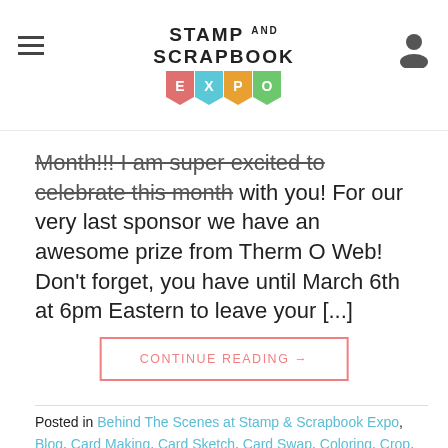Stamp and Scrapbook Expo
Month!!! I am super excited to celebrate this month with you! For our very last sponsor we have an awesome prize from Therm O Web! Don't forget, you have until March 6th at 6pm Eastern to leave your [...]
CONTINUE READING →
Posted in Behind The Scenes at Stamp & Scrapbook Expo, Blog, Card Making, Card Sketch, Card Swap, Coloring, Crop, Crops, Designer Spotlight, Designers, Embossing, Felt Projects, Freebie Friday, General Crafts, Giveaways, How To, journals, Manufacturers, Mini Albums, National Stamp & Scrapbook Expo Month, New Releases, News, Paper Crafts, Planner, Scrapbook Expo, Scrapbook Expo News, Scrapbooking, Social Media, Spotlight, Stamp & Scrapbook Expo, Stamp & Scrapbook Expo News, Stamping, Stamping Techniques, Stickers, Technique